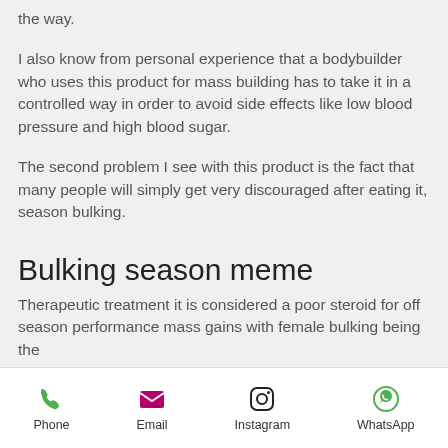the way.
I also know from personal experience that a bodybuilder who uses this product for mass building has to take it in a controlled way in order to avoid side effects like low blood pressure and high blood sugar.
The second problem I see with this product is the fact that many people will simply get very discouraged after eating it, season bulking.
Bulking season meme
Therapeutic treatment it is considered a poor steroid for off season performance mass gains with female bulking being the
Phone | Email | Instagram | WhatsApp